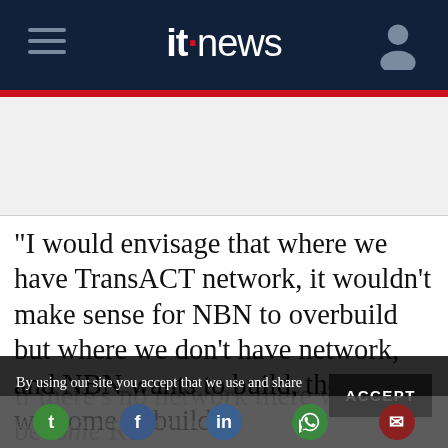itnews
[Figure (other): Advertisement / blank gray area below header]
"I would envisage that where we have TransACT network, it wouldn't make sense for NBN to overbuild but where we don't have network, and NBN wants to build, they're welcome to build it.
By using our site you accept that we use and share cookies and similar technologies to perform analytics and provide content and ads tailored to your interests. By continuing to use our site, you consent to this. Please see our Cookie Policy for more information.